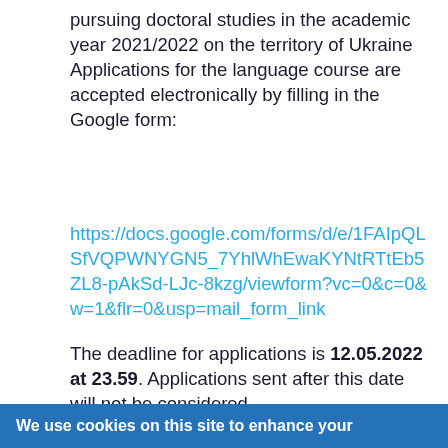pursuing doctoral studies in the academic year 2021/2022 on the territory of Ukraine Applications for the language course are accepted electronically by filling in the Google form:
https://docs.google.com/forms/d/e/1FAIpQLSfVQPWNYGN5_7YhlWhEwaKYNtRTtEb5ZL8-pAkSd-LJc-8kzg/viewform?vc=0&c=0&w=1&flr=0&usp=mail_form_link
The deadline for applications is 12.05.2022 at 23.59. Applications sent after this date will not be considered.
We use cookies on this site to enhance your user experience